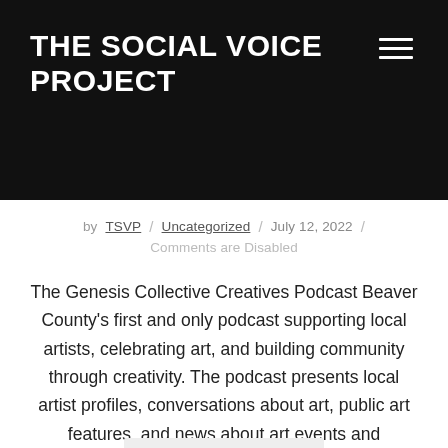THE SOCIAL VOICE PROJECT
by TSVP / Uncategorized / July 12, 2022 / Comments are Disabled
The Genesis Collective Creatives Podcast Beaver County's first and only podcast supporting local artists, celebrating art, and building community through creativity. The podcast presents local artist profiles, conversations about art, public art features, and news about art events and activities. Suggest Beaver County artists, artworks, events, and other art news to feature on the podcast. …